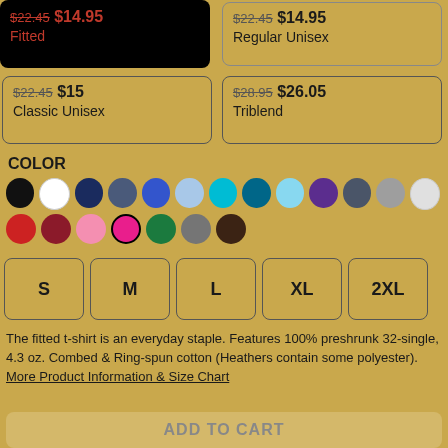$22.45 $14.95 Fitted
$22.45 $14.95 Regular Unisex
$22.45 $15 Classic Unisex
$28.95 $26.05 Triblend
COLOR
[Figure (infographic): Color swatches: row 1: black, white, navy, slate-blue, royal-blue, light-blue, teal, dark-teal, sky-blue, purple, dark-gray, gray, light-gray; row 2: red, maroon, pink, hot-pink (selected), green, gray, dark-brown]
S  M  L  XL  2XL
The fitted t-shirt is an everyday staple. Features 100% preshrunk 32-single, 4.3 oz. Combed & Ring-spun cotton (Heathers contain some polyester). More Product Information & Size Chart
ADD TO CART